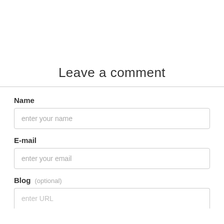Leave a comment
Name
enter your name
E-mail
enter your email
Blog (optional)
enter URL